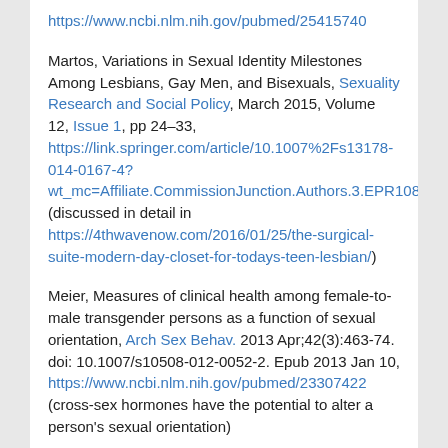https://www.ncbi.nlm.nih.gov/pubmed/25415740
Martos, Variations in Sexual Identity Milestones Among Lesbians, Gay Men, and Bisexuals, Sexuality Research and Social Policy, March 2015, Volume 12, Issue 1, pp 24–33, https://link.springer.com/article/10.1007%2Fs13178-014-0167-4?wt_mc=Affiliate.CommissionJunction.Authors.3.EPR1089.DeepLink& (discussed in detail in https://4thwavenow.com/2016/01/25/the-surgical-suite-modern-day-closet-for-todays-teen-lesbian/)
Meier, Measures of clinical health among female-to-male transgender persons as a function of sexual orientation, Arch Sex Behav. 2013 Apr;42(3):463-74. doi: 10.1007/s10508-012-0052-2. Epub 2013 Jan 10, https://www.ncbi.nlm.nih.gov/pubmed/23307422 (cross-sex hormones have the potential to alter a person's sexual orientation)